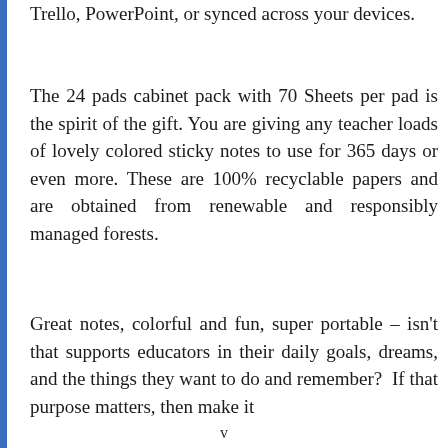Trello, PowerPoint, or synced across your devices.
The 24 pads cabinet pack with 70 Sheets per pad is the spirit of the gift. You are giving any teacher loads of lovely colored sticky notes to use for 365 days or even more. These are 100% recyclable papers and are obtained from renewable and responsibly managed forests.
Great notes, colorful and fun, super portable – isn't that supports educators in their daily goals, dreams, and the things they want to do and remember?  If that purpose matters, then make it
v